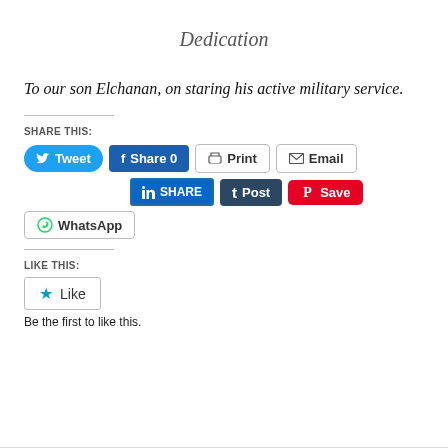Dedication
To our son Elchanan, on staring his active military service.
SHARE THIS:
[Figure (screenshot): Social share buttons: Tweet, Share 0, Print, Email, SHARE (LinkedIn), Post (Tumblr), Save (Pinterest), WhatsApp]
LIKE THIS:
[Figure (screenshot): Like button widget]
Be the first to like this.